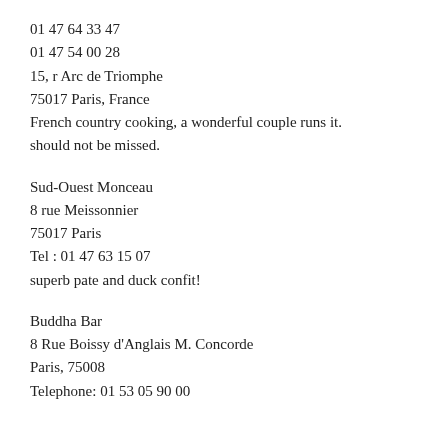01 47 64 33 47
01 47 54 00 28
15, r Arc de Triomphe
75017 Paris, France
French country cooking, a wonderful couple runs it. should not be missed.
Sud-Ouest Monceau
8 rue Meissonnier
75017 Paris
Tel : 01 47 63 15 07
superb pate and duck confit!
Buddha Bar
8 Rue Boissy d'Anglais M. Concorde
Paris, 75008
Telephone: 01 53 05 90 00